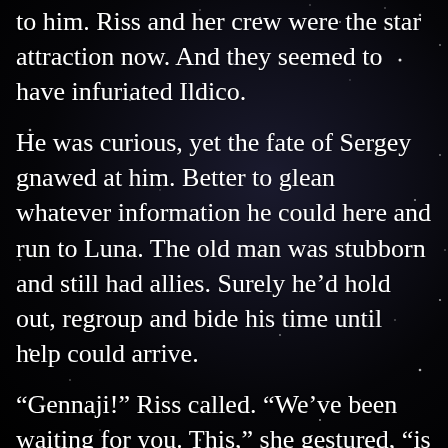to him. Riss and her crew were the star attraction now. And they seemed to have infuriated Ildico.
He was curious, yet the fate of Sergey gnawed at him. Better to glean whatever information he could here and run to Luna. The old man was stubborn and still had allies. Surely he'd hold out, regroup and bide his time until help could arrive.
“Gennaji!” Riss called. “We’ve been waiting for you. This,” she gestured, “is what we are prepared to offer you.”
Andrej gave a mild yelp and threw his